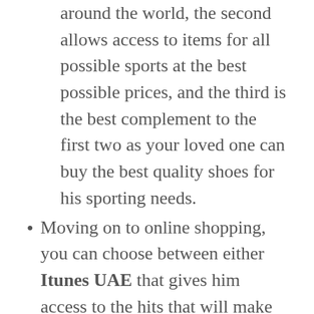around the world, the second allows access to items for all possible sports at the best possible prices, and the third is the best complement to the first two as your loved one can buy the best quality shoes for his sporting needs.
Moving on to online shopping, you can choose between either Itunes UAE that gives him access to the hits that will make him sing and dance wherever he goes, or Souq.com with which he can buy electronics, cosmetics, home décor and even sporting items. Here, it is all about convenience.
Finally, science has proven that a day at the spa can significantly reduce